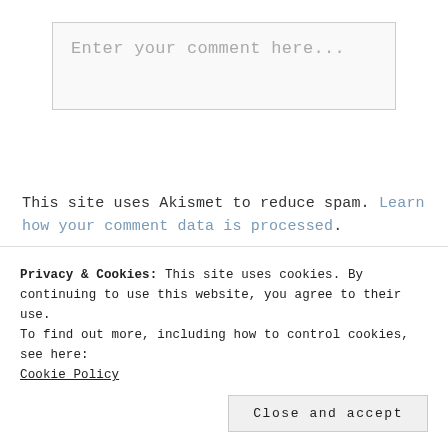[Figure (screenshot): Text input field with placeholder text 'Enter your comment here...']
This site uses Akismet to reduce spam. Learn how your comment data is processed.
Privacy & Cookies: This site uses cookies. By continuing to use this website, you agree to their use.
To find out more, including how to control cookies, see here:
Cookie Policy
Close and accept